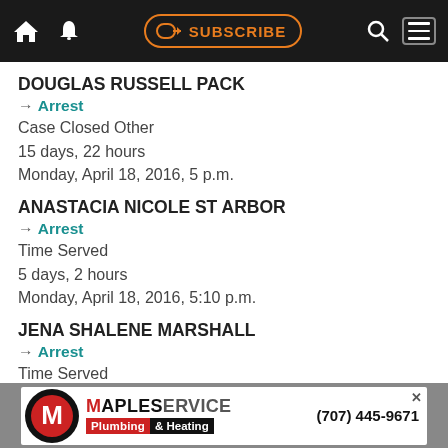SUBSCRIBE navigation bar
DOUGLAS RUSSELL PACK
→ Arrest
Case Closed Other
15 days, 22 hours
Monday, April 18, 2016, 5 p.m.
ANASTACIA NICOLE ST ARBOR
→ Arrest
Time Served
5 days, 2 hours
Monday, April 18, 2016, 5:10 p.m.
JENA SHALENE MARSHALL
→ Arrest
Time Served
4 days, 22 hours
Monday, April 18, 2016, 5:12 p.m.
[Figure (infographic): MapleService Plumbing & Heating advertisement banner with phone number (707) 445-9671]